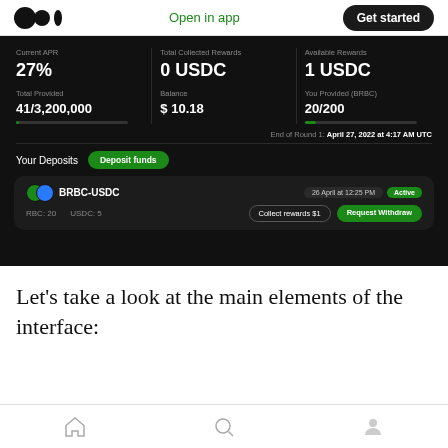Open in app | Get started
[Figure (screenshot): Dark-themed DeFi liquidity pool interface showing Current APR 27%, Total Collected Rewards 0 USDC, Available Rewards 1 USDC, Total Provided 41/3,200,000, Balance $10.18, You Provided (BRBC) 20/200, End of Round 1: April 27, 2022 at 4:17 AM UTC, Your Deposits section with Deposit funds button, BRBC-USDC pool card showing 26 April at 12:25 PM, Active status, RBC: 20, USDC: 5, Collect rewards $1 and Request Withdraw buttons]
Let’s take a look at the main elements of the interface:
Home | Search | Profile